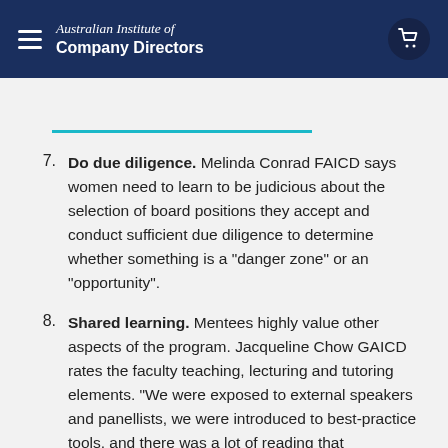Australian Institute of Company Directors
10 lessons from a decade of mentoring
7. Do due diligence. Melinda Conrad FAICD says women need to learn to be judicious about the selection of board positions they accept and conduct sufficient due diligence to determine whether something is a “danger zone” or an “opportunity”.
8. Shared learning. Mentees highly value other aspects of the program. Jacqueline Chow GAICD rates the faculty teaching, lecturing and tutoring elements. “We were exposed to external speakers and panellists, we were introduced to best-practice tools, and there was a lot of reading that